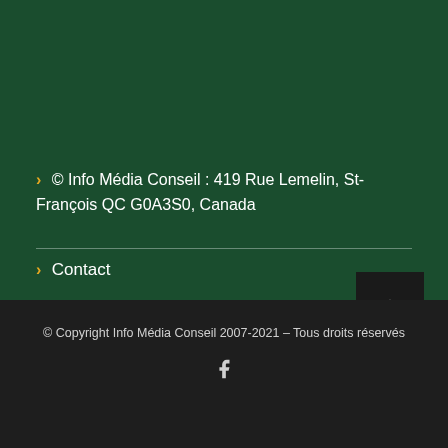© Info Média Conseil : 419 Rue Lemelin, St-François QC G0A3S0, Canada
Contact
© Copyright Info Média Conseil 2007-2021 – Tous droits réservés